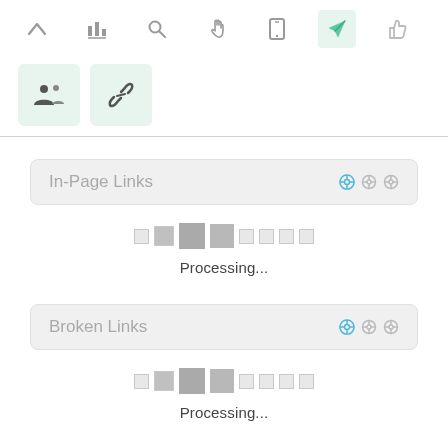[Figure (screenshot): Top toolbar with 7 icons: up arrow, bar chart, search/magnify, hand/cursor, mobile phone, rocket/send (active, highlighted in green), thumbs up]
[Figure (screenshot): Second toolbar row with two icon buttons: people/group icon and chain/link icon, both in green-tinted boxes]
In-Page Links
[Figure (infographic): Loading progress indicator with squares of varying sizes, center squares darker]
Processing...
Broken Links
[Figure (infographic): Loading progress indicator with squares of varying sizes, center squares darker]
Processing...